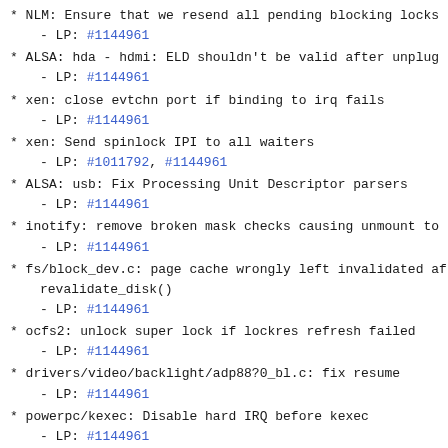* NLM: Ensure that we resend all pending blocking locks
  - LP: #1144961
* ALSA: hda - hdmi: ELD shouldn't be valid after unplug
  - LP: #1144961
* xen: close evtchn port if binding to irq fails
  - LP: #1144961
* xen: Send spinlock IPI to all waiters
  - LP: #1011792, #1144961
* ALSA: usb: Fix Processing Unit Descriptor parsers
  - LP: #1144961
* inotify: remove broken mask checks causing unmount to
  - LP: #1144961
* fs/block_dev.c: page cache wrongly left invalidated af
  revalidate_disk()
  - LP: #1144961
* ocfs2: unlock super lock if lockres refresh failed
  - LP: #1144961
* drivers/video/backlight/adp88?0_bl.c: fix resume
  - LP: #1144961
* powerpc/kexec: Disable hard IRQ before kexec
  - LP: #1144961
* mm: mmu_notifier: have mmu_notifiers use a global SRCU
  safely schedule
  - LP: #1144961
* mm: mmu_notifier: make the mmu_notifier srcu static